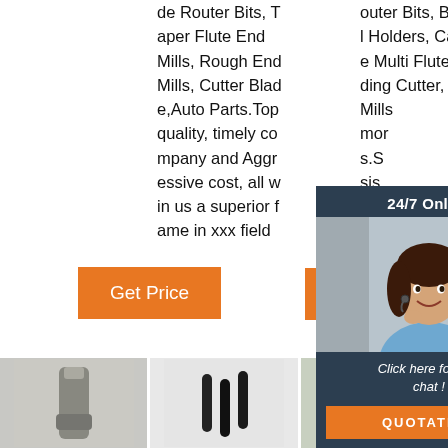de Router Bits, Taper Flute End Mills, Rough End Mills, Cutter Blade,Auto Parts.Top quality, timely company and Aggressive cost, all w in us a superior f ame in xxx field ...
outer Bits, Bt Tool Holders, Carbide Multi Flute Welding Cutter, End Mills more s.Sis doing to .
[Figure (photo): Customer service agent photo with 24/7 Online chat popup overlay, showing a woman with headset smiling, with orange QUOTATION button]
[Figure (other): Get Price orange button (left)]
[Figure (other): Get orange button (right, partially obscured)]
[Figure (logo): TOP badge with orange dots above orange bold TOP text]
[Figure (photo): Three product images at the bottom: metallic tool on left, black tool bits center, green-tipped tool bits on right]